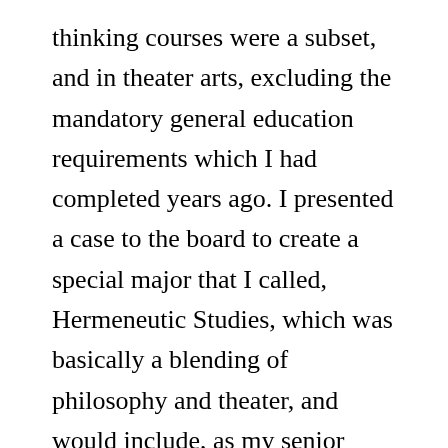thinking courses were a subset, and in theater arts, excluding the mandatory general education requirements which I had completed years ago. I presented a case to the board to create a special major that I called, Hermeneutic Studies, which was basically a blending of philosophy and theater, and would include, as my senior project, the production of the play I had begun writing while in Taiwan. The board approved my petition, so the trajectory for completing my degree was finally determined. In the end however, my